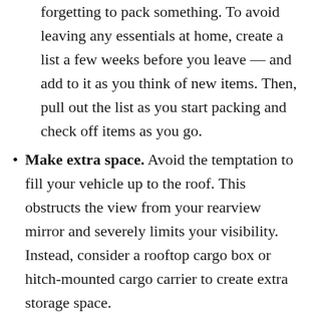forgetting to pack something. To avoid leaving any essentials at home, create a list a few weeks before you leave — and add to it as you think of new items. Then, pull out the list as you start packing and check off items as you go.
Make extra space. Avoid the temptation to fill your vehicle up to the roof. This obstructs the view from your rearview mirror and severely limits your visibility. Instead, consider a rooftop cargo box or hitch-mounted cargo carrier to create extra storage space.
Keep pets safe. Is the family dog headed to the beach with you? Use a pet carrier or harness device to keep him safe for the ride. If your pet is hurt in a covered accident while riding in your car, ERIE will help cover the vet treatment costs